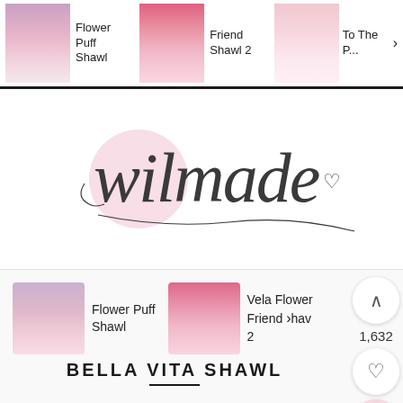[Figure (screenshot): Top navigation strip showing three shawl product images with text: 'Flower Puff Shawl', 'Friend Shawl 2', 'To The P... Shawl' with a right arrow]
[Figure (logo): Wilmade script logo with a pink circle and cursive text 'wilmade' with a heart symbol]
[Figure (screenshot): Related products row showing 'Flower Puff Shawl' and 'Vela Flower Friend Shawl 2' with thumbnail images, and side buttons showing 1,632 count, heart button, and search button]
BELLA VITA SHAWL
Posted on 9 July 2017